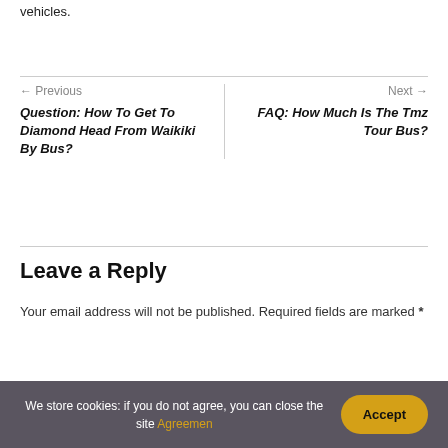vehicles.
← Previous
Question: How To Get To Diamond Head From Waikiki By Bus?
Next →
FAQ: How Much Is The Tmz Tour Bus?
Leave a Reply
Your email address will not be published. Required fields are marked *
We store cookies: if you do not agree, you can close the site Agreemen